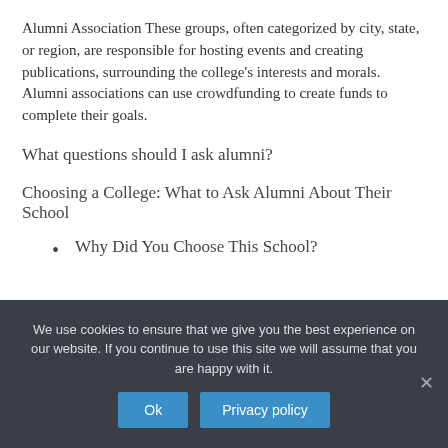Alumni Association These groups, often categorized by city, state, or region, are responsible for hosting events and creating publications, surrounding the college's interests and morals. Alumni associations can use crowdfunding to create funds to complete their goals.
What questions should I ask alumni?
Choosing a College: What to Ask Alumni About Their School
Why Did You Choose This School?
We use cookies to ensure that we give you the best experience on our website. If you continue to use this site we will assume that you are happy with it.